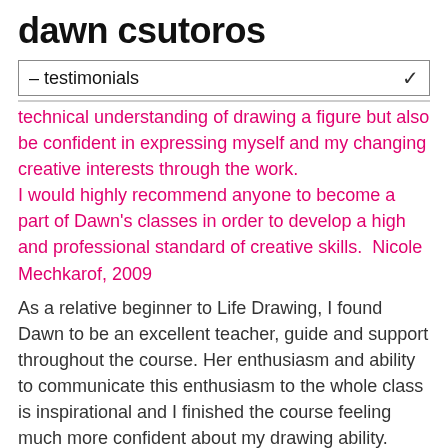dawn csutoros
– testimonials
technical understanding of drawing a figure but also be confident in expressing myself and my changing creative interests through the work.
I would highly recommend anyone to become a part of Dawn's classes in order to develop a high and professional standard of creative skills.  Nicole Mechkarof, 2009
As a relative beginner to Life Drawing, I found Dawn to be an excellent teacher, guide and support throughout the course. Her enthusiasm and ability to communicate this enthusiasm to the whole class is inspirational and I finished the course feeling much more confident about my drawing ability. Dawn will always encourage you to move out of your comfort